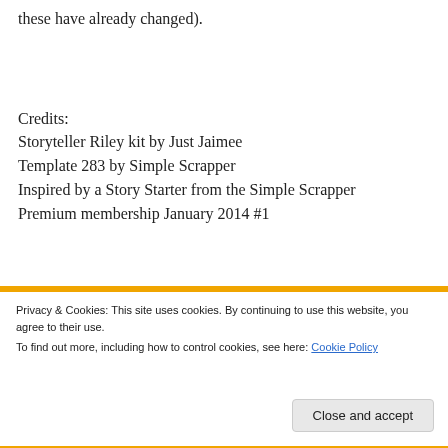these have already changed).
Credits:
Storyteller Riley kit by Just Jaimee
Template 283 by Simple Scrapper
Inspired by a Story Starter from the Simple Scrapper Premium membership January 2014 #1
Privacy & Cookies: This site uses cookies. By continuing to use this website, you agree to their use.
To find out more, including how to control cookies, see here: Cookie Policy
Close and accept
[Figure (illustration): Bottom strip with thumbnail images: 'Don't waste', a middle image, and 'Fake it 'til']